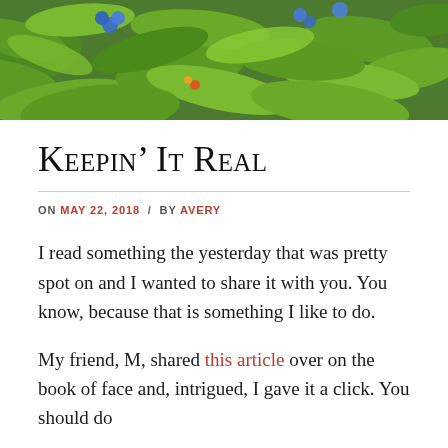[Figure (photo): A close-up photo of green leafy plants with blue and red flowers visible in the background, used as a decorative header image for the blog post.]
Keepin’ It Real
ON MAY 22, 2018 / BY AVERY
I read something the yesterday that was pretty spot on and I wanted to share it with you. You know, because that is something I like to do.
My friend, M, shared this article over on the book of face and, intrigued, I gave it a click. You should do